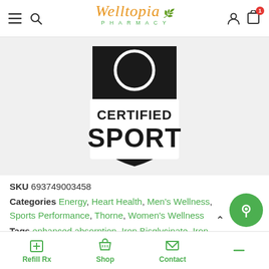Welltopia Pharmacy — navigation bar with menu, search, logo, user, cart (badge: 1)
[Figure (logo): NSF Certified Sport badge — black shield shape with white circle at top and white rectangle at bottom containing text 'CERTIFIED SPORT' in bold black letters]
SKU 693749003458
Categories Energy, Heart Health, Men's Wellness, Sports Performance, Thorne, Women's Wellness
Tags enhanced absorption, Iron Bisglycinate, Iron Deficiency, RBCs Formation, red blood cell formati…
Refill Rx  Shop  Contact